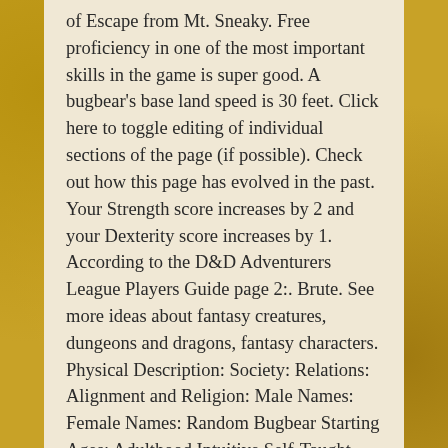of Escape from Mt. Sneaky. Free proficiency in one of the most important skills in the game is super good. A bugbear's base land speed is 30 feet. Click here to toggle editing of individual sections of the page (if possible). Check out how this page has evolved in the past. Your Strength score increases by 2 and your Dexterity score increases by 1. According to the D&D Adventurers League Players Guide page 2:. Brute. See more ideas about fantasy creatures, dungeons and dragons, fantasy characters. Physical Description: Society: Relations: Alignment and Religion: Male Names: Female Names: Random Bugbear Starting Ages; Adulthood Intuitive Self-Taught Trained; 15 years +1d4 years (16 – 19 years) +1d6 years (16 – 21 years) +2d6 . . . Core races [edit] . . . Yes, bugbear is a legal AL race. The Strength and the extra reach really help with any plan that involves smacking or stabbing your way through conflicts. Brute. Please